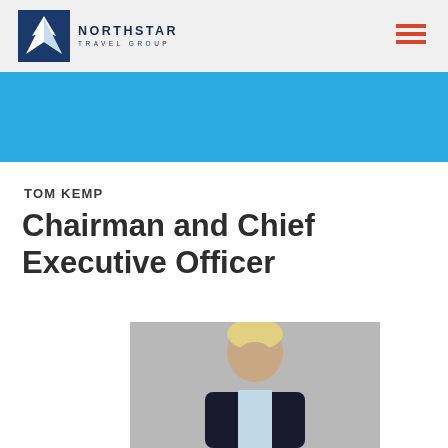NORTHSTAR TRAVEL GROUP
[Figure (illustration): Light blue banner/hero section background]
TOM KEMP
Chairman and Chief Executive Officer
[Figure (photo): Professional headshot of Tom Kemp, an older blonde man in a dark suit, smiling, against a grey background]